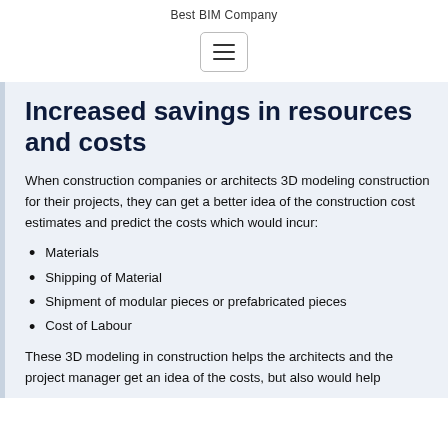Best BIM Company
[Figure (other): Hamburger menu icon button with three horizontal lines inside a rounded rectangle border]
Increased savings in resources and costs
When construction companies or architects 3D modeling construction for their projects, they can get a better idea of the construction cost estimates and predict the costs which would incur:
Materials
Shipping of Material
Shipment of modular pieces or prefabricated pieces
Cost of Labour
These 3D modeling in construction helps the architects and the project manager get an idea of the costs, but also would help